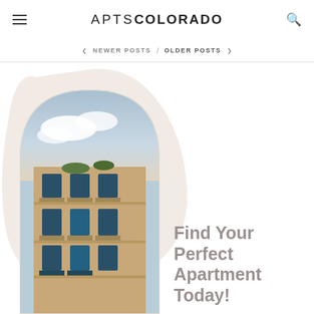APTSCOLORADO
< NEWER POSTS / OLDER POSTS >
[Figure (photo): Modern apartment building with balconies viewed from below against a blue cloudy sky, with rooftop greenery. Image is clipped to a rounded arch shape with a soft blob background shape.]
Find Your Perfect Apartment Today!